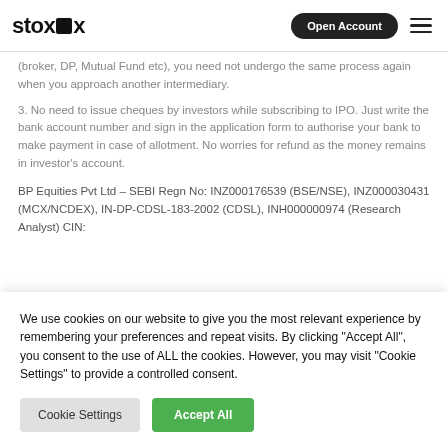stoxbox | Open Account
(broker, DP, Mutual Fund etc), you need not undergo the same process again when you approach another intermediary.
3. No need to issue cheques by investors while subscribing to IPO. Just write the bank account number and sign in the application form to authorise your bank to make payment in case of allotment. No worries for refund as the money remains in investor's account.
BP Equities Pvt Ltd – SEBI Regn No: INZ000176539 (BSE/NSE), INZ000030431 (MCX/NCDEX), IN-DP-CDSL-183-2002 (CDSL), INH000000974 (Research Analyst) CIN:
We use cookies on our website to give you the most relevant experience by remembering your preferences and repeat visits. By clicking "Accept All", you consent to the use of ALL the cookies. However, you may visit "Cookie Settings" to provide a controlled consent.